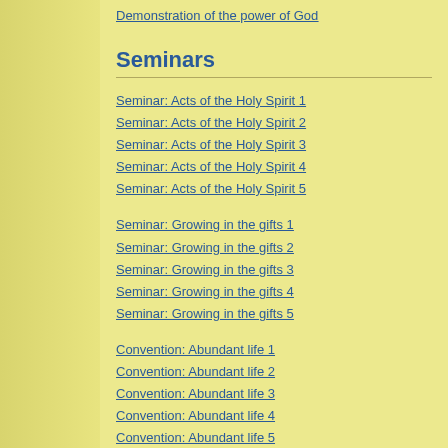Demonstration of the power of God
Seminars
Seminar: Acts of the Holy Spirit 1
Seminar: Acts of the Holy Spirit 2
Seminar: Acts of the Holy Spirit 3
Seminar: Acts of the Holy Spirit 4
Seminar: Acts of the Holy Spirit 5
Seminar: Growing in the gifts 1
Seminar: Growing in the gifts 2
Seminar: Growing in the gifts 3
Seminar: Growing in the gifts 4
Seminar: Growing in the gifts 5
Convention: Abundant life 1
Convention: Abundant life 2
Convention: Abundant life 3
Convention: Abundant life 4
Convention: Abundant life 5
Convention: Abundant life 6